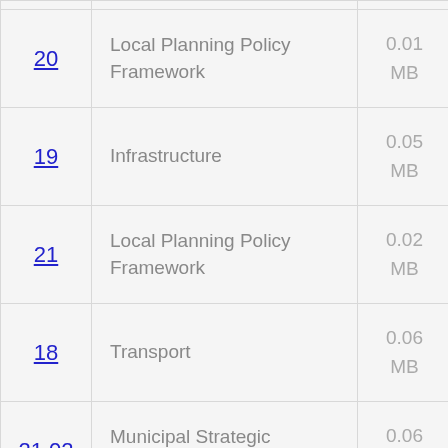| Number | Category | Size |
| --- | --- | --- |
| 20 | Local Planning Policy Framework | 0.01 MB |
| 19 | Infrastructure | 0.05 MB |
| 21 | Local Planning Policy Framework | 0.02 MB |
| 18 | Transport | 0.06 MB |
| 21.02 | Municipal Strategic Statement | 0.06 MB |
| 21.01 | Municipal Strategic Statement | 0.03 MB |